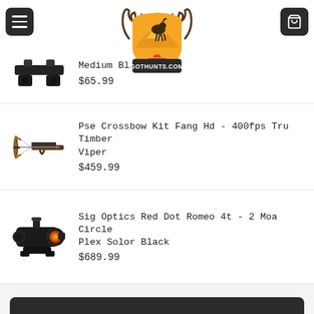GOTHUNTS.COM (navigation header with logo, menu button, cart button)
Medium Bl...
$65.99
Pse Crossbow Kit Fang Hd - 400fps Tru Timber Viper
$459.99
Sig Optics Red Dot Romeo 4t - 2 Moa Circle Plex Solor Black
$689.99